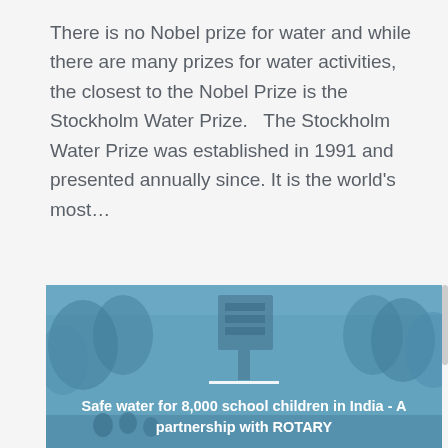There is no Nobel prize for water and while there are many prizes for water activities, the closest to the Nobel Prize is the Stockholm Water Prize.   The Stockholm Water Prize was established in 1991 and presented annually since. It is the world's most...
[Figure (photo): A blue-tinted outdoor photo showing what appears to be a water tank or tower structure among trees, with people visible. Overlaid with white text about safe water for school children in India.]